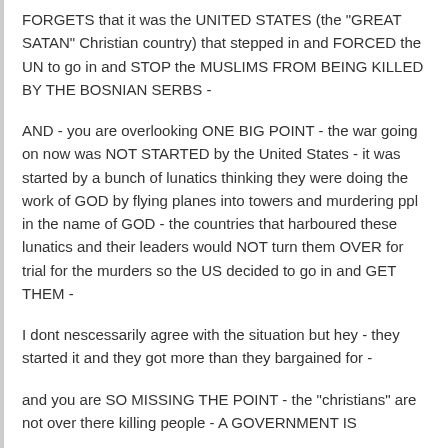FORGETS that it was the UNITED STATES (the "GREAT SATAN" Christian country) that stepped in and FORCED the UN to go in and STOP the MUSLIMS FROM BEING KILLED BY THE BOSNIAN SERBS -
AND - you are overlooking ONE BIG POINT - the war going on now was NOT STARTED by the United States - it was started by a bunch of lunatics thinking they were doing the work of GOD by flying planes into towers and murdering ppl in the name of GOD - the countries that harboured these lunatics and their leaders would NOT turn them OVER for trial for the murders so the US decided to go in and GET THEM -
I dont nescessarily agree with the situation but hey - they started it and they got more than they bargained for -
and you are SO MISSING THE POINT - the "christians" are not over there killing people - A GOVERNMENT IS